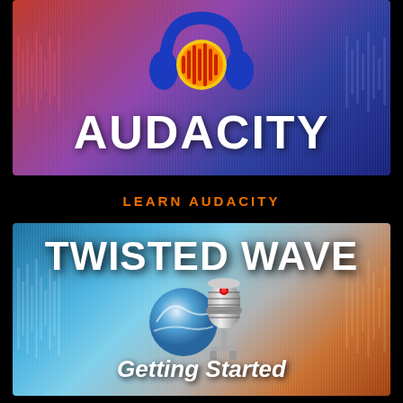[Figure (illustration): Audacity audio editor banner with blue headphones and waveform logo on a red-to-purple gradient background]
AUDACITY
LEARN AUDACITY
[Figure (illustration): Twisted Wave audio editor banner with blue globe and silver microphone logo on a blue-to-orange gradient background]
TWISTED WAVE
Getting Started